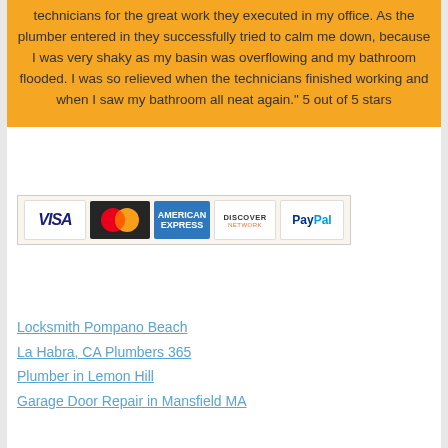technicians for the great work they executed in my office. As the plumber entered in they successfully tried to calm me down, because I was very shaky as my basin was overflowing and my bathroom flooded. I was so relieved when the technicians finished working and when I saw my bathroom all neat again." 5 out of 5 stars
[Figure (illustration): Payment method logos: VISA, MasterCard, American Express, Discover, PayPal]
Locksmith Pompano Beach
La Habra, CA Plumbers 365
Plumber in Lemon Hill
Garage Door Repair in Mansfield MA